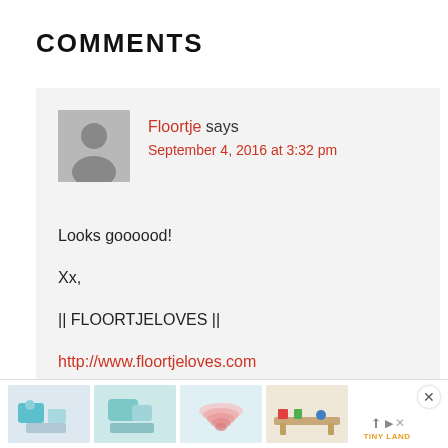COMMENTS
Floortje says
September 4, 2016 at 3:32 pm
Looks goooood!

Xx,

|| FLOORTJELOVES ||

http://www.floortjeloves.com
http://www.facebook.com/floortjeloves
[Figure (other): Advertisement banner with toy product images]